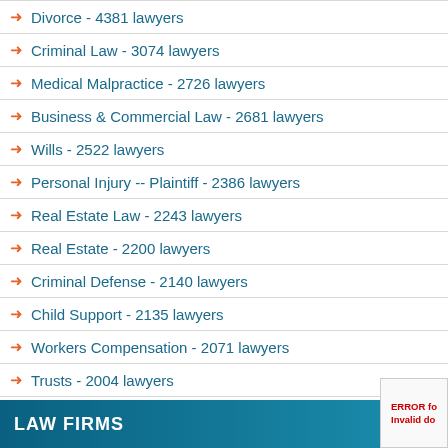→ Divorce - 4381 lawyers
→ Criminal Law - 3074 lawyers
→ Medical Malpractice - 2726 lawyers
→ Business & Commercial Law - 2681 lawyers
→ Wills - 2522 lawyers
→ Personal Injury -- Plaintiff - 2386 lawyers
→ Real Estate Law - 2243 lawyers
→ Real Estate - 2200 lawyers
→ Criminal Defense - 2140 lawyers
→ Child Support - 2135 lawyers
→ Workers Compensation - 2071 lawyers
→ Trusts - 2004 lawyers
LAW FIRMS